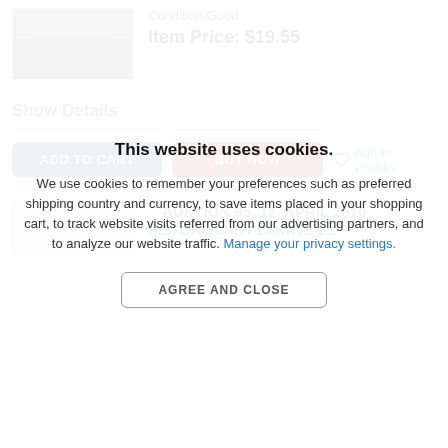Condition:Good
Item Price: $19.55
Show Details
ADD TO CART
BUY NOW
Add to Wishlist
AUKTION 95, 17. APRIL 2010
HISTORISCHE PLAKATE 1...
This website uses cookies.
We use cookies to remember your preferences such as preferred shipping country and currency, to save items placed in your shopping cart, to track website visits referred from our advertising partners, and to analyze our website traffic. Manage your privacy settings.
AGREE AND CLOSE